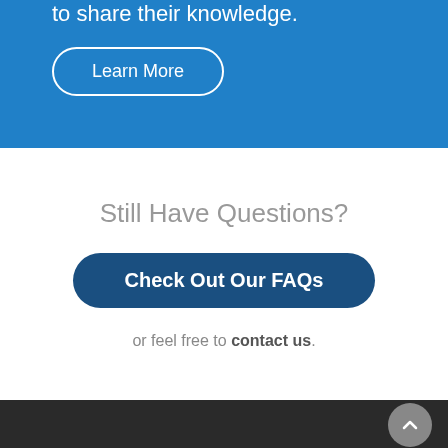topic presentations from improvers who love to share their knowledge.
Learn More
Still Have Questions?
Check Out Our FAQs
or feel free to contact us.